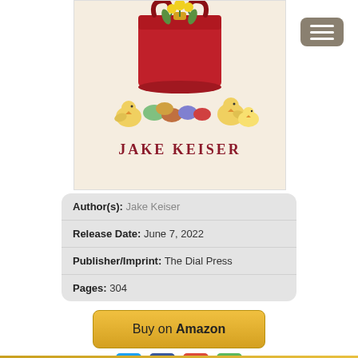[Figure (illustration): Book cover showing a red handbag with yellow daffodils, Easter eggs in pastel colors, and baby chicks. Author name 'JAKE KEISER' in large dark red serif text at the bottom of the cover.]
| Author(s): | Jake Keiser |
| Release Date: | June 7, 2022 |
| Publisher/Imprint: | The Dial Press |
| Pages: | 304 |
[Figure (other): Buy on Amazon button — golden/yellow rounded rectangle button with text 'Buy on Amazon']
[Figure (other): Social sharing icons: Twitter (blue), Facebook (blue), Google+ (red), Share (green)]